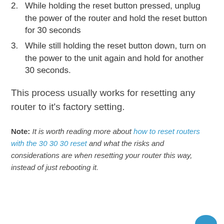2. While holding the reset button pressed, unplug the power of the router and hold the reset button for 30 seconds
3. While still holding the reset button down, turn on the power to the unit again and hold for another 30 seconds.
This process usually works for resetting any router to it's factory setting.
Note: It is worth reading more about how to reset routers with the 30 30 30 reset and what the risks and considerations are when resetting your router this way, instead of just rebooting it.